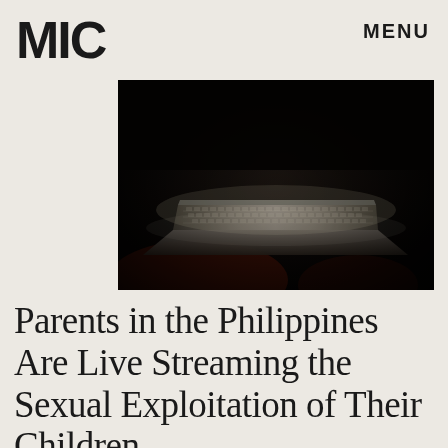MIC   MENU
[Figure (photo): A laptop computer photographed from a low angle in near-total darkness, with only the keyboard faintly illuminated, creating a dramatic dark atmosphere.]
Parents in the Philippines Are Live Streaming the Sexual Exploitation of Their Children